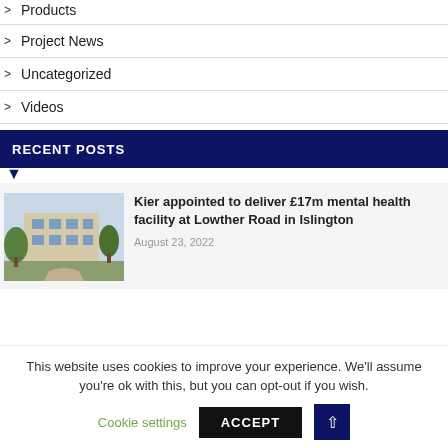> Products
> Project News
> Uncategorized
> Videos
RECENT POSTS
[Figure (photo): Exterior photo of a modern building with trees in front]
Kier appointed to deliver £17m mental health facility at Lowther Road in Islington
August 23, 2022
This website uses cookies to improve your experience. We'll assume you're ok with this, but you can opt-out if you wish.
Cookie settings   ACCEPT